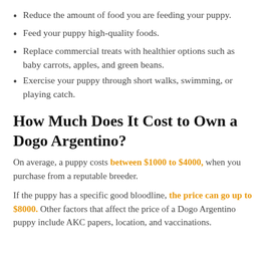Reduce the amount of food you are feeding your puppy.
Feed your puppy high-quality foods.
Replace commercial treats with healthier options such as baby carrots, apples, and green beans.
Exercise your puppy through short walks, swimming, or playing catch.
How Much Does It Cost to Own a Dogo Argentino?
On average, a puppy costs between $1000 to $4000, when you purchase from a reputable breeder.
If the puppy has a specific good bloodline, the price can go up to $8000. Other factors that affect the price of a Dogo Argentino puppy include AKC papers, location, and vaccinations.